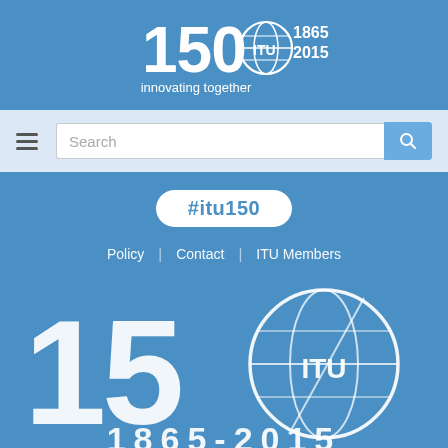[Figure (logo): ITU 150th anniversary logo with globe icon, '150 ITU 1865 2015 innovating together' in white on blue background]
[Figure (screenshot): Mobile website navigation bar with hamburger menu icon and search input field with blue search button]
#itu150
Policy | Contact | ITU Members
[Figure (logo): Large ITU 150th anniversary logo: '150' with ITU globe icon, '1865 - 2015', 'innovating together' in white on blue background]